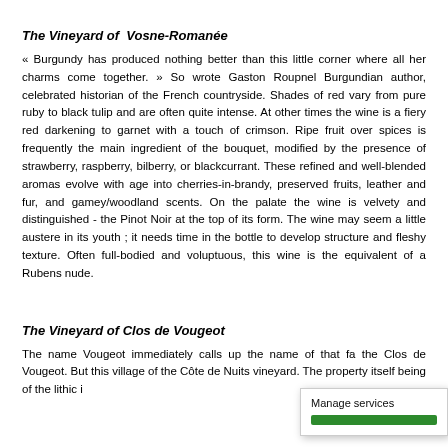The Vineyard of Vosne-Romanée
« Burgundy has produced nothing better than this little corner where all her charms come together. » So wrote Gaston Roupnel Burgundian author, celebrated historian of the French countryside. Shades of red vary from pure ruby to black tulip and are often quite intense. At other times the wine is a fiery red darkening to garnet with a touch of crimson. Ripe fruit over spices is frequently the main ingredient of the bouquet, modified by the presence of strawberry, raspberry, bilberry, or blackcurrant. These refined and well-blended aromas evolve with age into cherries-in-brandy, preserved fruits, leather and fur, and gamey/woodland scents. On the palate the wine is velvety and distinguished - the Pinot Noir at the top of its form. The wine may seem a little austere in its youth ; it needs time in the bottle to develop structure and fleshy texture. Often full-bodied and voluptuous, this wine is the equivalent of a Rubens nude.
The Vineyard of Clos de Vougeot
The name Vougeot immediately calls up the name of that fa... the Clos de Vougeot. But this village of the Côte de Nuits... vineyard. The property itself being of...